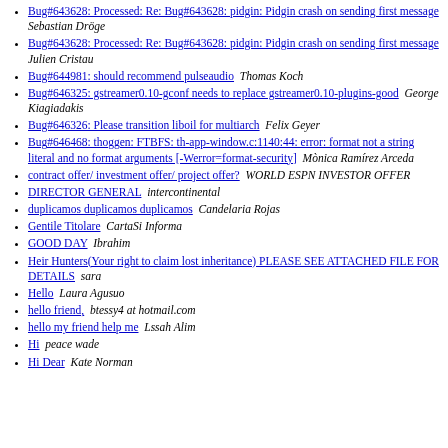Bug#643628: Processed: Re: Bug#643628: pidgin: Pidgin crash on sending first message   Sebastian Dröge
Bug#643628: Processed: Re: Bug#643628: pidgin: Pidgin crash on sending first message   Julien Cristau
Bug#644981: should recommend pulseaudio   Thomas Koch
Bug#646325: gstreamer0.10-gconf needs to replace gstreamer0.10-plugins-good   George Kiagiadakis
Bug#646326: Please transition liboil for multiarch   Felix Geyer
Bug#646468: thoggen: FTBFS: th-app-window.c:1140:44: error: format not a string literal and no format arguments [-Werror=format-security]   Mònica Ramírez Arceda
contract offer/ investment offer/ project offer?   WORLD ESPN INVESTOR OFFER
DIRECTOR GENERAL   intercontinental
duplicamos duplicamos duplicamos   Candelaria Rojas
Gentile Titolare   CartaSi Informa
GOOD DAY   Ibrahim
Heir Hunters(Your right to claim lost inheritance) PLEASE SEE ATTACHED FILE FOR DETAILS   sara
Hello   Laura Agusuo
hello friend,   btessy4 at hotmail.com
hello my friend help me   Lssah Alim
Hi   peace wade
Hi Dear   Kate Norman